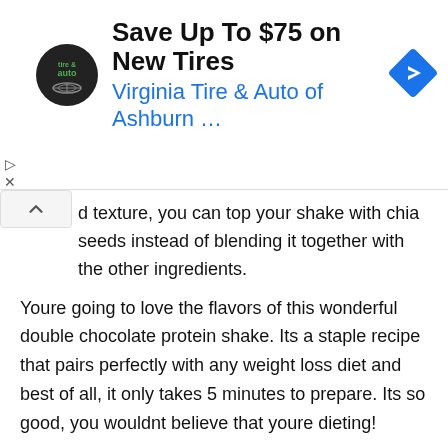[Figure (screenshot): Advertisement banner for Virginia Tire & Auto of Ashburn with logo, headline 'Save Up To $75 on New Tires', subline 'Virginia Tire & Auto of Ashburn ...', and a blue diamond navigation arrow icon]
d texture, you can top your shake with chia seeds instead of blending it together with the other ingredients.
Youre going to love the flavors of this wonderful double chocolate protein shake. Its a staple recipe that pairs perfectly with any weight loss diet and best of all, it only takes 5 minutes to prepare. Its so good, you wouldnt believe that youre dieting!
Recommended Reading:  Smoothie King Arena Concerts
Smoothie Vs Protein Shake
The biggest difference between a smoothie and a protein